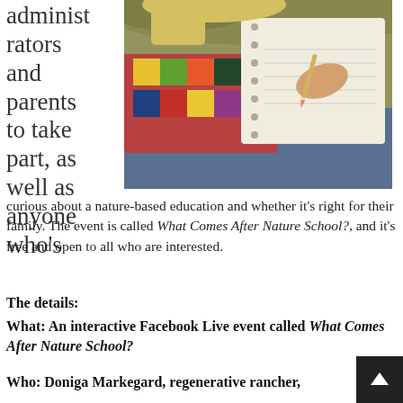administrators and parents to take part, as well as anyone who's
[Figure (photo): A student writing in a spiral notebook outdoors, wearing a colorful plaid flannel shirt, photographed from above with a vintage/warm filter]
curious about a nature-based education and whether it's right for their family. The event is called What Comes After Nature School?, and it's free and open to all who are interested.
The details:
What: An interactive Facebook Live event called What Comes After Nature School?
Who: Doniga Markegard, regenerative rancher,